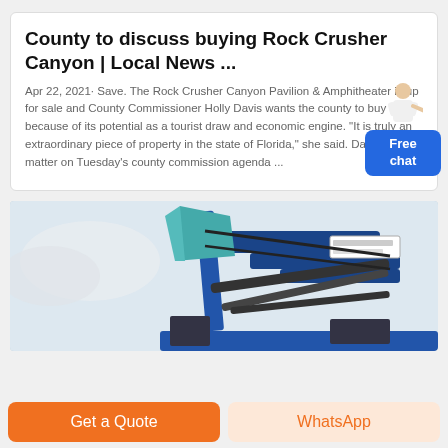County to discuss buying Rock Crusher Canyon | Local News ...
Apr 22, 2021· Save. The Rock Crusher Canyon Pavilion & Amphitheater is up for sale and County Commissioner Holly Davis wants the county to buy it because of its potential as a tourist draw and economic engine. "It is truly an extraordinary piece of property in the state of Florida," she said. Davis put the matter on Tuesday's county commission agenda ...
[Figure (photo): Photograph of heavy industrial machinery, appears to be a rock crusher or similar construction equipment with blue/teal metallic components against a light sky background.]
Get a Quote
WhatsApp